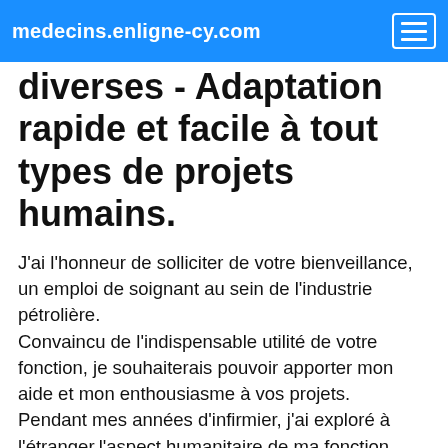medecins.enligne-cy.com
diverses - Adaptation rapide et facile à tout types de projets humains.
J'ai l'honneur de solliciter de votre bienveillance, un emploi de soignant au sein de l'industrie pétrolière.
Convaincu de l'indispensable utilité de votre fonction, je souhaiterais pouvoir apporter mon aide et mon enthousiasme à vos projets.
Pendant mes années d'infirmier, j'ai exploré à l'étranger,l'aspect humanitaire de ma fonction.
J'ai ainsi confronté mon métier à d'autres cultures, d'autres manières d'envisager le soin .
J'ai ainsi appris et été confronté à d'autres techniques. J'ai aussi rencontré des partenaires